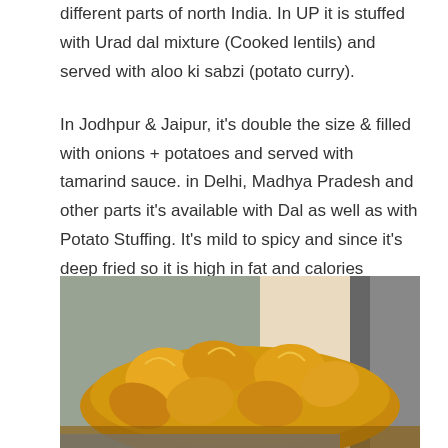different parts of north India. In UP it is stuffed with Urad dal mixture (Cooked lentils) and served with aloo ki sabzi (potato curry).

In Jodhpur & Jaipur, it's double the size & filled with onions + potatoes and served with tamarind sauce. in Delhi, Madhya Pradesh and other parts it's available with Dal as well as with Potato Stuffing. It's mild to spicy and since it's deep fried so it is high in fat and calories content. But it is safe for stomach if you get fresh made Kachoris. In cities like Varanasi and Lucknow in Uttar Pradesh, this is a popular breakfast dish.
[Figure (photo): A photograph showing a pile of golden-brown fried kachoris (Indian fried pastries/snacks) in a metal dish or container, with a blue wall visible in the background and a person's arm/hand partially visible on the right side.]